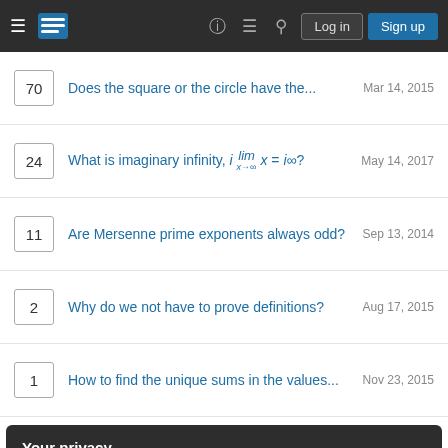Stack Exchange navigation bar with hamburger menu, logo, help, chat, search icons, Log in and Sign up buttons
70 | Does the square or the circle have the... | Mar 14, 2015
24 | What is imaginary infinity, i lim_{x→∞} x = i∞? | May 14, 2017
11 | Are Mersenne prime exponents always odd? | Sep 13, 2014
2 | Why do we not have to prove definitions? | Aug 17, 2015
1 | How to find the unique sums in the values... | Nov 23, 2015
Your privacy
By clicking "Accept all cookies", you agree Stack Exchange can store cookies on your device and disclose information in accordance with our Cookie Policy.
Accept all cookies  Customize settings